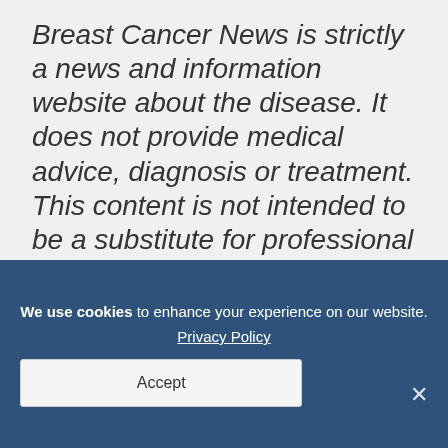Breast Cancer News is strictly a news and information website about the disease. It does not provide medical advice, diagnosis or treatment. This content is not intended to be a substitute for professional medical advice, diagnosis, or treatment. Always seek the advice of your physician or another qualified health provider with any questions you may have regarding a medical condition. Never disregard professional medical advice or
We use cookies to enhance your experience on our website. Privacy Policy Accept